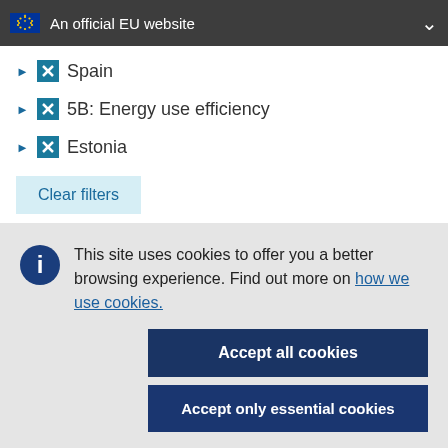An official EU website
Spain
5B: Energy use efficiency
Estonia
Clear filters
This site uses cookies to offer you a better browsing experience. Find out more on how we use cookies.
Accept all cookies
Accept only essential cookies